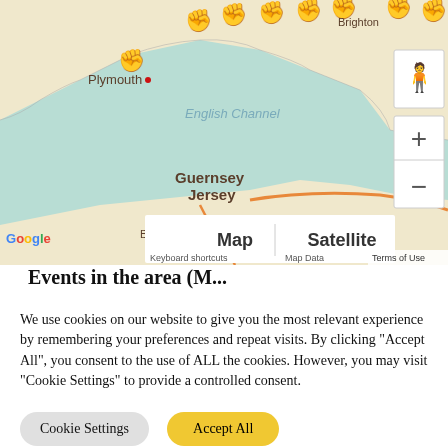[Figure (map): Google Maps screenshot showing southern England and northern France, including Plymouth, Brighton, Guernsey, Jersey, and the English Channel. Multiple red raised-fist protest icons are pinned across southern England. Map/Satellite toggle controls, zoom controls, and a Street View pegman are visible. Google logo and Terms of Use shown at bottom.]
Events in the area (M...
We use cookies on our website to give you the most relevant experience by remembering your preferences and repeat visits. By clicking "Accept All", you consent to the use of ALL the cookies. However, you may visit "Cookie Settings" to provide a controlled consent.
Cookie Settings
Accept All